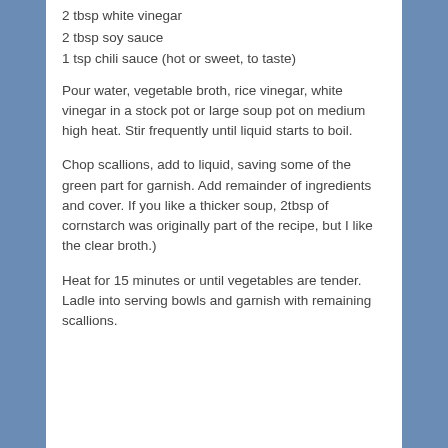2 tbsp white vinegar
2 tbsp soy sauce
1 tsp chili sauce (hot or sweet, to taste)
Pour water, vegetable broth, rice vinegar, white vinegar in a stock pot or large soup pot on medium high heat. Stir frequently until liquid starts to boil.
Chop scallions, add to liquid, saving some of the green part for garnish. Add remainder of ingredients and cover. If you like a thicker soup, 2tbsp of cornstarch was originally part of the recipe, but I like the clear broth.)
Heat for 15 minutes or until vegetables are tender. Ladle into serving bowls and garnish with remaining scallions.